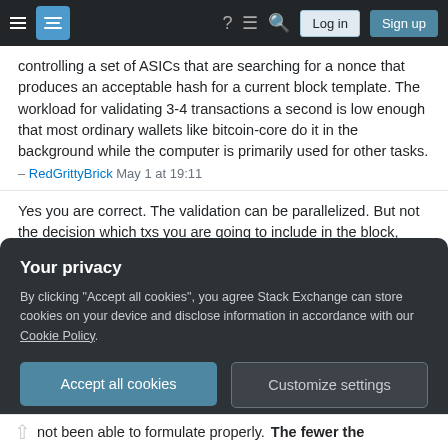Stack Exchange navigation bar with hamburger menu, logo, help icon, chat icon, search icon, Log in button, Sign up button
controlling a set of ASICs that are searching for a nonce that produces an acceptable hash for a current block template. The workload for validating 3-4 transactions a second is low enough that most ordinary wallets like bitcoin-core do it in the background while the computer is primarily used for other tasks.
– RedGrittyBrick May 1 at 19:11
Yes you are correct. The validation can be parallelized. But not the decision which txs you are going to include in the block, because you have to check for each new block, that the validated txs were not already included in the previous block. So every time a new mining "race" starts you have to at least filter out all txs that
Your privacy
By clicking "Accept all cookies", you agree Stack Exchange can store cookies on your device and disclose information in accordance with our Cookie Policy.
Accept all cookies
Customize settings
not been able to formulate properly. The fewer the